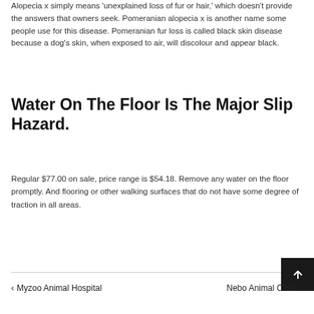Alopecia x simply means 'unexplained loss of fur or hair,' which doesn't provide the answers that owners seek. Pomeranian alopecia x is another name some people use for this disease. Pomeranian fur loss is called black skin disease because a dog's skin, when exposed to air, will discolour and appear black.
Water On The Floor Is The Major Slip Hazard.
Regular $77.00 on sale, price range is $54.18. Remove any water on the floor promptly. And flooring or other walking surfaces that do not have some degree of traction in all areas.
‹ Myzoo Animal Hospital   Nebo Animal Clinic ›